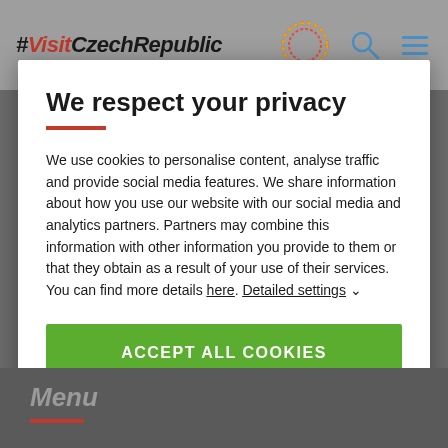#VisitCzechRepublic
We respect your privacy
We use cookies to personalise content, analyse traffic and provide social media features. We share information about how you use our website with our social media and analytics partners. Partners may combine this information with other information you provide to them or that they obtain as a result of your use of their services. You can find more details here. Detailed settings
ACCEPT ALL COOKIES
Menu